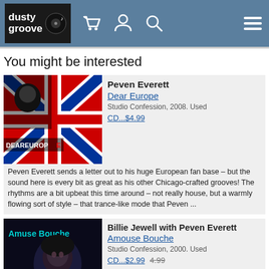dusty groove — navigation header with cart, account, search, and menu icons
You might be interested
[Figure (photo): Album cover for Peven Everett - Dear Europe, showing union jack flag design with artist photo]
Peven Everett
Dear Europe
Studio Confession, 2008. Used
CD...$4.99
Peven Everett sends a letter out to his huge European fan base – but the sound here is every bit as great as his other Chicago-crafted grooves! The rhythms are a bit upbeat this time around – not really house, but a warmly flowing sort of style – that trance-like mode that Peven ...
[Figure (photo): Album cover for Billie Jewell with Peven Everett - Amouse Bouche, dark cover with female portrait]
Billie Jewell with Peven Everett
Amouse Bouche
Studio Confession, 2000. Used
CD...$2.99  4.99
Singer Billie Jewell gets some great grooves here – backings and production from Peven Everett, who put the whole thing together and co-wrote the tunes with Billie! Jewell is something of a muse for legendary underground soul figure Everett – a female singer that lets him unleash a ...
[Figure (photo): Album cover for N'Dea Davenport - N'Dea Davenport, partially visible]
N'Dea Davenport
N'Dea Davenport